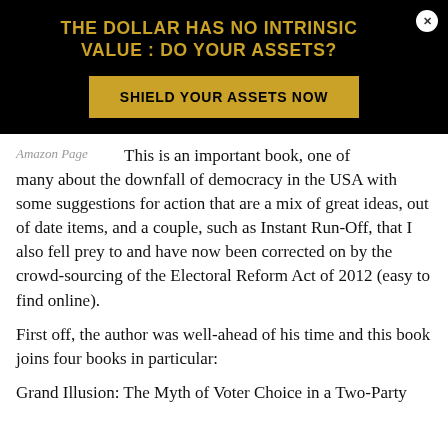[Figure (infographic): Black banner advertisement with gold text reading 'THE DOLLAR HAS NO INTRINSIC VALUE : DO YOUR ASSETS?' and a gold call-to-action button 'SHIELD YOUR ASSETS NOW', with a white close button in the top right corner.]
Amazon Page
This is an important book, one of many about the downfall of democracy in the USA with some suggestions for action that are a mix of great ideas, out of date items, and a couple, such as Instant Run-Off, that I also fell prey to and have now been corrected on by the crowd-sourcing of the Electoral Reform Act of 2012 (easy to find online).
First off, the author was well-ahead of his time and this book joins four books in particular:
Grand Illusion: The Myth of Voter Choice in a Two-Party